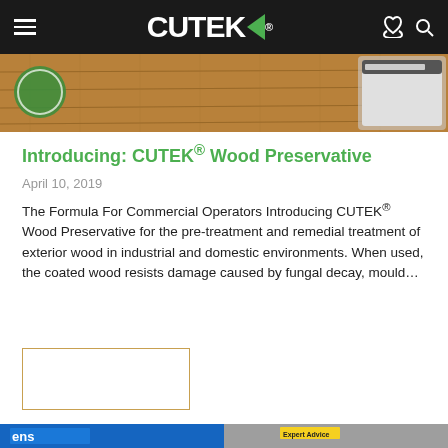CUTEK® (navigation bar with hamburger menu, logo, phone and search icons)
[Figure (photo): Top banner showing wooden deck boards with CUTEK product can visible at right edge, and a round green logo at left]
Introducing: CUTEK® Wood Preservative
April 10, 2019
The Formula For Commercial Operators Introducing CUTEK® Wood Preservative for the pre-treatment and remedial treatment of exterior wood in industrial and domestic environments. When used, the coated wood resists damage caused by fungal decay, mould…
[Figure (other): Empty placeholder box with orange/tan border]
[Figure (photo): Bottom strip showing magazine covers — blue cover with white text on left, Expert Advice badge with outdoor/nature image on right]